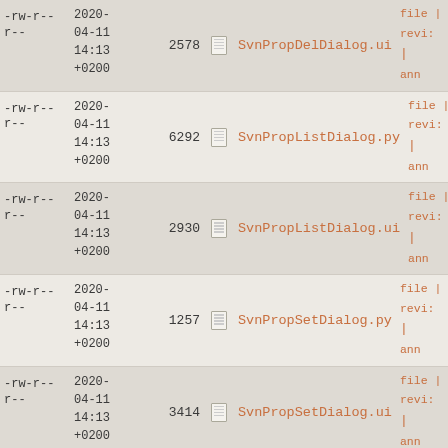| permissions | date | size |  | name | actions |
| --- | --- | --- | --- | --- | --- |
| -rw-r--r-- | 2020-04-11 14:13 +0200 | 2578 |  | SvnPropDelDialog.ui | file | revis | | anno |
| -rw-r--r-- | 2020-04-11 14:13 +0200 | 6292 |  | SvnPropListDialog.py | file | revis | | anno |
| -rw-r--r-- | 2020-04-11 14:13 +0200 | 2930 |  | SvnPropListDialog.ui | file | revis | | anno |
| -rw-r--r-- | 2020-04-11 14:13 +0200 | 1257 |  | SvnPropSetDialog.py | file | revis | | anno |
| -rw-r--r-- | 2020-04-11 14:13 +0200 | 3414 |  | SvnPropSetDialog.ui | file | revis | | anno |
| -rw-r--r-- | 2020-04-11 14:13 +0200 | 1252 |  | SvnRelocateDialog.py | file | revis | | anno |
| -rw-r-- | 2020-04-11 | 2008 |  | SvnRelocateDialog.ui | file | revis |